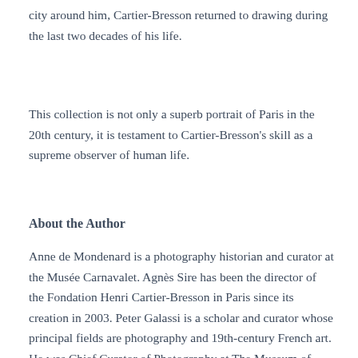city around him, Cartier-Bresson returned to drawing during the last two decades of his life.
This collection is not only a superb portrait of Paris in the 20th century, it is testament to Cartier-Bresson's skill as a supreme observer of human life.
About the Author
Anne de Mondenard is a photography historian and curator at the Musée Carnavalet. Agnès Sire has been the director of the Fondation Henri Cartier-Bresson in Paris since its creation in 2003. Peter Galassi is a scholar and curator whose principal fields are photography and 19th-century French art. He was Chief Curator of Photography at The Museum of Modern Art from 1991 to